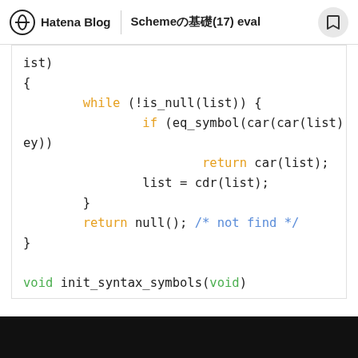Hatena Blog | Schemeの基礎(17) eval
[Figure (screenshot): Code snippet showing C-like code with while loop, if statement with eq_symbol/car/cdr calls, return statements, and void init_syntax_symbols(void) function signature. Keywords highlighted in orange, comments in blue.]